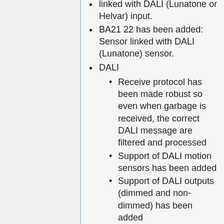linked with DALI (Lunatone or Helvar) input.
BA21 22 has been added: Sensor linked with DALI (Lunatone) sensor.
DALI
Receive protocol has been made robust so even when garbage is received, the correct DALI message are filtered and processed
Support of DALI motion sensors has been added
Support of DALI outputs (dimmed and non-dimmed) has been added
Some Lunatone motion sensors have built-in temperature sensors. The firmware supports polling of these temperature